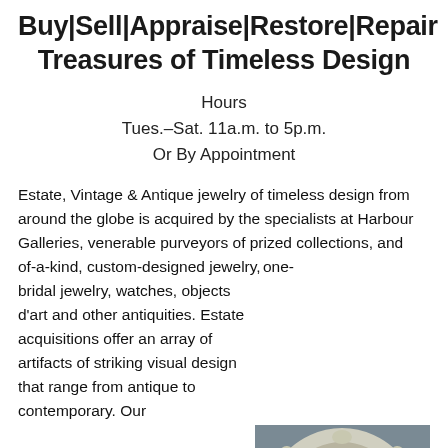Buy|Sell|Appraise|Restore|Repair Treasures of Timeless Design
Hours
Tues.–Sat. 11a.m. to 5p.m.
Or By Appointment
Estate, Vintage & Antique jewelry of timeless design from around the globe is acquired by the specialists at Harbour Galleries, venerable purveyors of prized collections, and one-of-a-kind, custom-designed jewelry, bridal jewelry, watches, objects d'art and other antiquities. Estate acquisitions offer an array of artifacts of striking visual design that range from antique to contemporary. Our
[Figure (photo): Oval cameo brooch with a profile of a woman carved in shell, set in a silver decorative frame with floral details, wearing a pendant necklace]